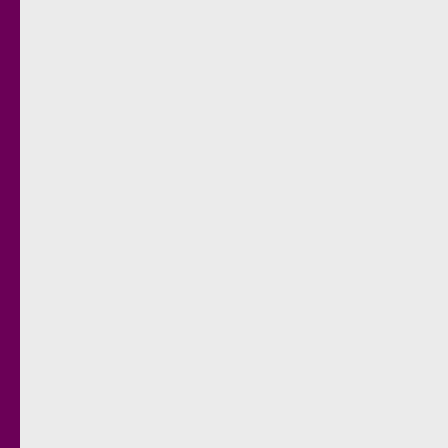Sex Co...
Blog Tour Kick-Off: Pepper Jones series by Ali Dean!
Blog Tour Kick-Off: The Occasional Diamond Thief b...
Review Tour Sign Up: Starbright Series by Hilary T...